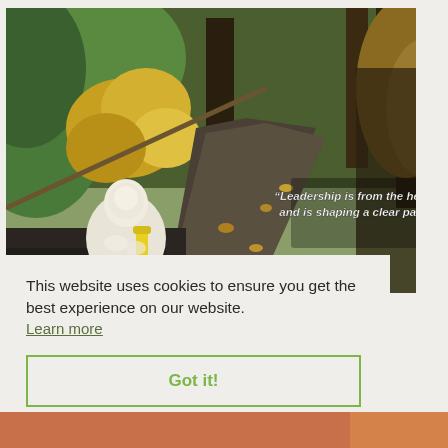[Figure (photo): Autumn forest path with fallen leaves. In the foreground, a white crocheted angel/doll figure holds a yellow scroll. Text overlay reads: "Leadership is from the heart, and is shaping a clear path"]
This website uses cookies to ensure you get the best experience on our website.
Learn more
Got it!